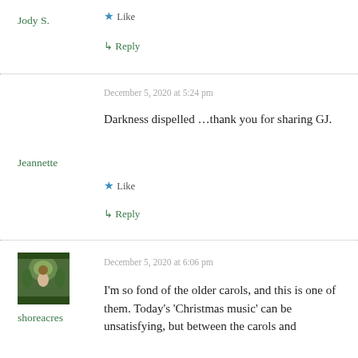Jody S.
★ Like
↳ Reply
December 5, 2020 at 5:24 pm
Darkness dispelled …thank you for sharing GJ.
Jeannette
★ Like
↳ Reply
December 5, 2020 at 6:06 pm
shoreacres
I'm so fond of the older carols, and this is one of them. Today's 'Christmas music' can be unsatisfying, but between the carols and